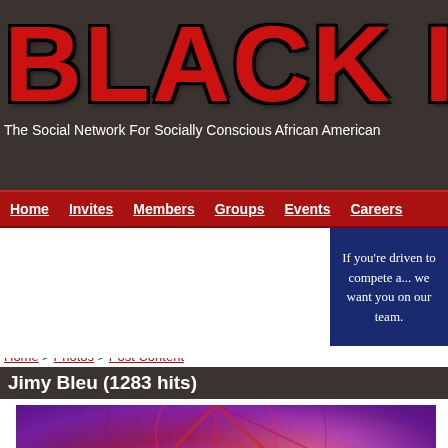BLACK IN AMER
The Social Network For Socially Conscious African Americans
Home | Invites | Members | Groups | Events | Careers
[Figure (other): Advertisement banner with navy blue background reading: If you're driven to compete a... we want you on our team.]
Home > Photos > Post Content
Jimy Bleu (1283 hits)
[Figure (photo): Abstract colorful image with pink, purple, and red hues, partially visible at the bottom of the page.]